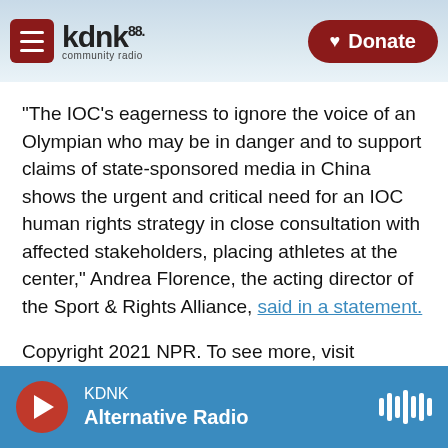[Figure (screenshot): KDNK 88.1 community radio website header with hamburger menu, logo, mountain background, and Donate button]
"The IOC's eagerness to ignore the voice of an Olympian who may be in danger and to support claims of state-sponsored media in China shows the urgent and critical need for an IOC human rights strategy in close consultation with affected stakeholders, placing athletes at the center," Andrea Florence, the acting director of the Sport & Rights Alliance, said in a statement.
Copyright 2021 NPR. To see more, visit https://www.npr.org.
Tags   NPR
KDNK  Alternative Radio